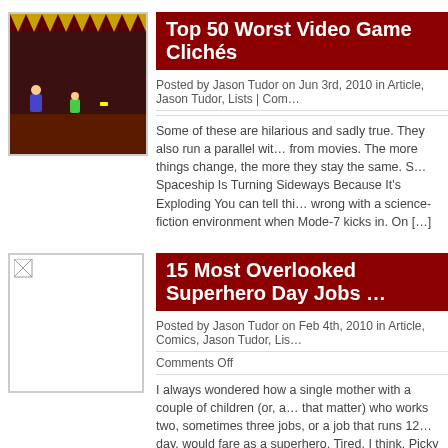[Figure (screenshot): Thumbnail image of a video game screenshot with dark background and game sprites]
Top 50 Worst Video Game Clichés
Posted by Jason Tudor on Jun 3rd, 2010 in Article, Jason Tudor, Lists | Com…
Some of these are hilarious and sadly true. They also run a parallel with clichés from movies. The more things change, the more they stay the same. S… Spaceship Is Turning Sideways Because It's Exploding You can tell thi… wrong with a science-fiction environment when Mode-7 kicks in. On […]
[Figure (photo): Blank/broken image placeholder for second article]
15 Most Overlooked Superhero Day Jobs …
Posted by Jason Tudor on Feb 4th, 2010 in Article, Comics, Jason Tudor, Lis…
Comments Off
I always wondered how a single mother with a couple of children (or, a… that matter) who works two, sometimes three jobs, or a job that runs 12… day, would fare as a superhero. Tired, I think. Picky about how and whe… someone. Rumpled. In that regard, supporting […]
« Previous Entries